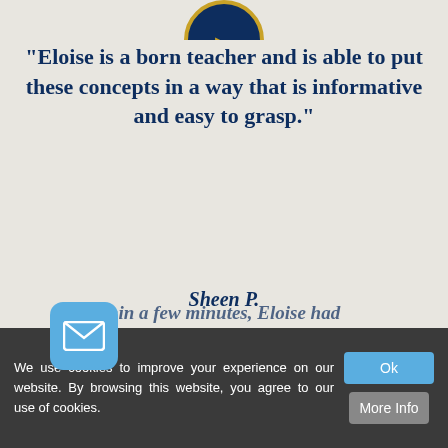[Figure (illustration): Partially visible circular avatar badge at the top of the page with a gold and blue design]
“Eloise is a born teacher and is able to put these concepts in a way that is informative and easy to grasp.”
Sheen P.
[Figure (illustration): Circular quotation mark icon in dark blue and gold color scheme]
[Figure (logo): Circular badge/avatar with gold rabbit/hare graphic on dark blue background, partially visible at bottom]
We use cookies to improve your experience on our website. By browsing this website, you agree to our use of cookies.
[Figure (illustration): Email envelope icon in blue rounded rectangle]